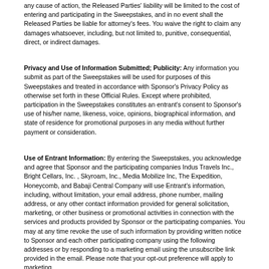any cause of action, the Released Parties' liability will be limited to the cost of entering and participating in the Sweepstakes, and in no event shall the Released Parties be liable for attorney's fees. You waive the right to claim any damages whatsoever, including, but not limited to, punitive, consequential, direct, or indirect damages.
Privacy and Use of Information Submitted; Publicity: Any information you submit as part of the Sweepstakes will be used for purposes of this Sweepstakes and treated in accordance with Sponsor's Privacy Policy as otherwise set forth in these Official Rules. Except where prohibited, participation in the Sweepstakes constitutes an entrant's consent to Sponsor's use of his/her name, likeness, voice, opinions, biographical information, and state of residence for promotional purposes in any media without further payment or consideration.
Use of Entrant Information: By entering the Sweepstakes, you acknowledge and agree that Sponsor and the participating companies Indus Travels Inc., Bright Cellars, Inc. , Skyroam, Inc., Media Mobilize Inc, The Expedition, Honeycomb, and Babaji Central Company will use Entrant's information, including, without limitation, your email address, phone number, mailing address, or any other contact information provided for general solicitation, marketing, or other business or promotional activities in connection with the services and products provided by Sponsor or the participating companies. You may at any time revoke the use of such information by providing written notice to Sponsor and each other participating company using the following addresses or by responding to a marketing email using the unsubscribe link provided in the email. Please note that your opt-out preference will apply to marketing